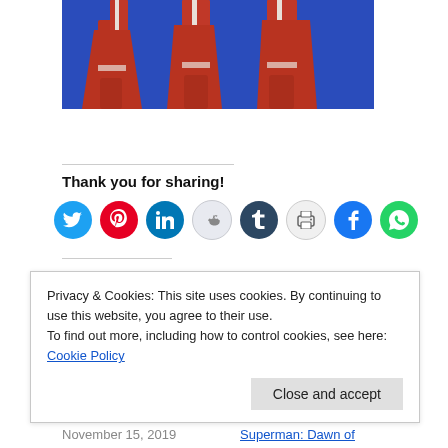[Figure (photo): Partial view of figures in red costumes with white trim and red boots against a blue background]
Thank you for sharing!
[Figure (infographic): Row of social sharing icon buttons: Twitter, Pinterest, LinkedIn, Reddit, Tumblr, Print, Facebook, WhatsApp]
Privacy & Cookies: This site uses cookies. By continuing to use this website, you agree to their use.
To find out more, including how to control cookies, see here: Cookie Policy
Close and accept
November 15, 2019
Superman: Dawn of